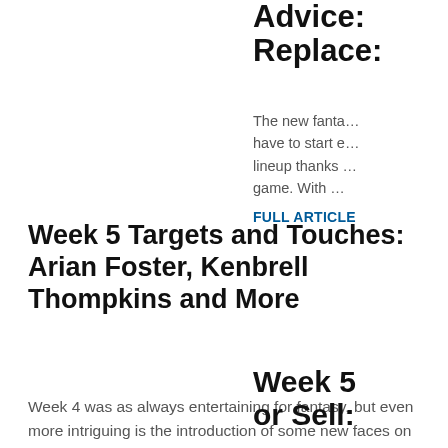Advice: Replace…
The new fanta… have to start e… lineup thanks … game. With …
FULL ARTICLE
Week 5 Targets and Touches: Arian Foster, Kenbrell Thompkins and More
Week 4 was as always entertaining for fantasy, but even more intriguing is the introduction of some new faces on this weekly report. Some players were finally able to …
FULL ARTICLE
Week 5 or Sell: